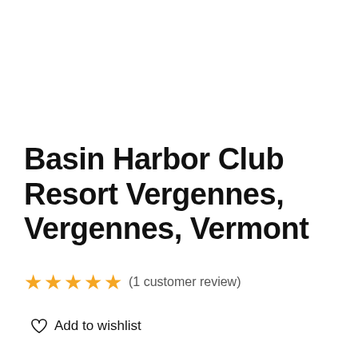Basin Harbor Club Resort Vergennes, Vergennes, Vermont
★★★★★ (1 customer review)
♡ Add to wishlist